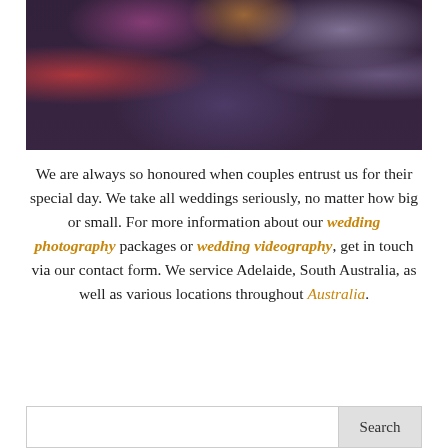[Figure (photo): Wedding reception photo showing guests seated at round tables in a banquet hall, with people raising glasses and taking photos, purple stage lighting in background, candelabras visible.]
We are always so honoured when couples entrust us for their special day. We take all weddings seriously, no matter how big or small. For more information about our wedding photography packages or wedding videography, get in touch via our contact form. We service Adelaide, South Australia, as well as various locations throughout Australia.